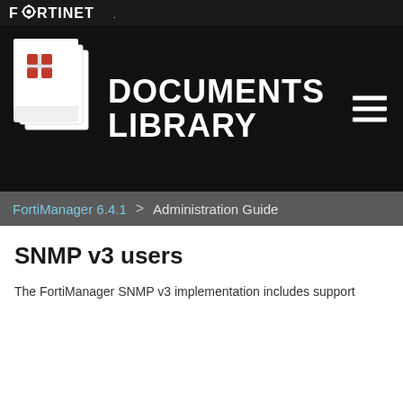[Figure (logo): Fortinet logo text in white on dark background top bar]
[Figure (illustration): Fortinet Documents Library header with stacked documents icon and DOCUMENTS LIBRARY text in white on black background, with hamburger menu icon on right]
FortiManager 6.4.1 > Administration Guide
SNMP v3 users
The FortiManager SNMP v3 implementation includes support